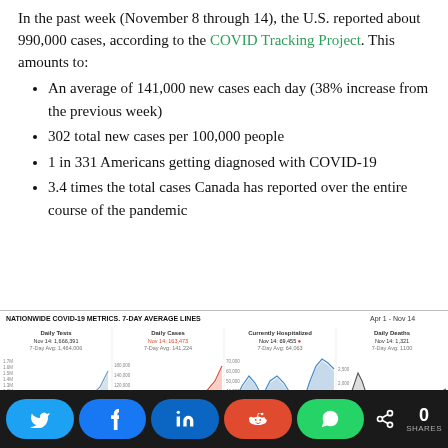In the past week (November 8 through 14), the U.S. reported about 990,000 cases, according to the COVID Tracking Project. This amounts to:
An average of 141,000 new cases each day (38% increase from the previous week)
302 total new cases per 100,000 people
1 in 331 Americans getting diagnosed with COVID-19
3.4 times the total cases Canada has reported over the entire course of the pandemic
[Figure (line-chart): Four panel line chart showing Daily Tests, Daily Cases, Currently Hospitalized, and Daily Deaths from Apr 1 - Nov 14. Daily Tests Nov 14: 1,666,391, 7-Day Avg: 1,464,006. Daily Cases Nov 14: 163,473, 7-Day Avg: 141,224. Currently Hospitalized Nov 14: 69,455, 7-Day Avg: 64,063. Daily Deaths Nov 14: 1,321, 7-Day Avg: 1100.]